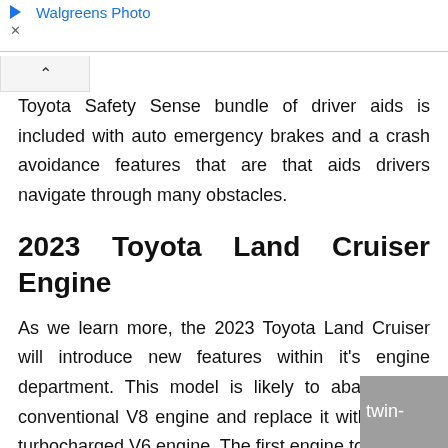Walgreens Photo
Toyota Safety Sense bundle of driver aids is included with auto emergency brakes and a crash avoidance features that are that aids drivers navigate through many obstacles.
2023 Toyota Land Cruiser Engine
As we learn more, the 2023 Toyota Land Cruiser will introduce new features within it's engine department. This model is likely to abandon its conventional V8 engine and replace it with a twin-turbocharged V6 engine. The first engine to be